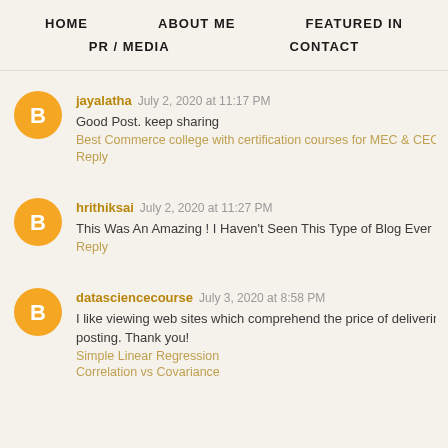HOME   ABOUT ME   FEATURED IN   PR / MEDIA   CONTACT
jayalatha  July 2, 2020 at 11:17 PM
Good Post. keep sharing
Best Commerce college with certification courses for MEC & CEC in hy
Reply
hrithiksai  July 2, 2020 at 11:27 PM
This Was An Amazing ! I Haven't Seen This Type of Blog Ever ! Thankyo
Reply
datasciencecourse  July 3, 2020 at 8:58 PM
I like viewing web sites which comprehend the price of delivering tha
posting. Thank you!
Simple Linear Regression
Correlation vs Covariance